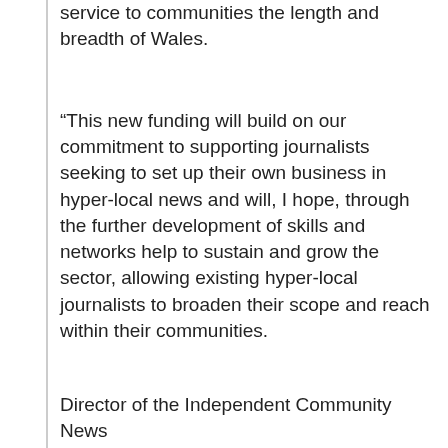service to communities the length and breadth of Wales.
“This new funding will build on our commitment to supporting journalists seeking to set up their own business in hyper-local news and will, I hope, through the further development of skills and networks help to sustain and grow the sector, allowing existing hyper-local journalists to broaden their scope and reach within their communities.
“These are important services which deserve our recognition and support and I’m delighted, today, to be able to do just that.”  ”
Director of the Independent Community News